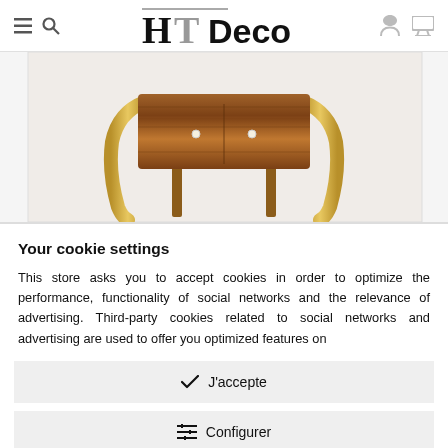HT Deco
[Figure (photo): Antique Art Deco wooden console/desk with curved golden legs and two small drawer handles, rosewood veneer finish]
Your cookie settings
This store asks you to accept cookies in order to optimize the performance, functionality of social networks and the relevance of advertising. Third-party cookies related to social networks and advertising are used to offer you optimized features on
✓ J'accepte
⊞ Configurer
Politique en matière de confidentialité et de cookies